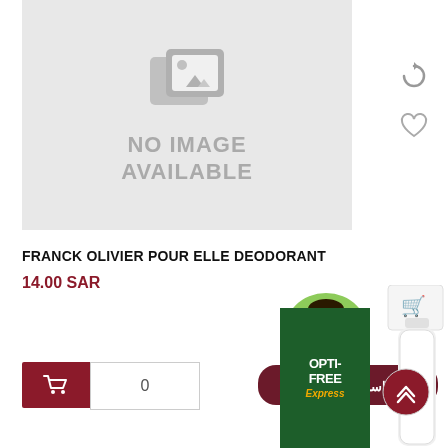[Figure (photo): No image available placeholder with grey background and image icon, showing NO IMAGE AVAILABLE text]
FRANCK OLIVIER POUR ELLE DEODORANT
14.00 SAR
[Figure (illustration): Pharmacist chat widget with avatar and Arabic text اسال الصيدلي]
[Figure (photo): OPTI-FREE Express product box partially visible at bottom]
[Figure (photo): White spray bottle partially visible at bottom]
[Figure (illustration): Scroll to top button with arrows icon]